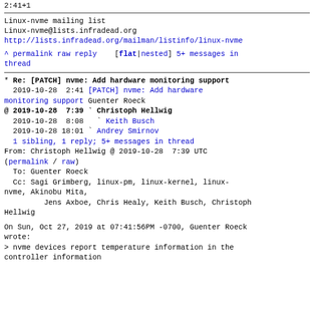2:41+1
Linux-nvme mailing list
Linux-nvme@lists.infradead.org
http://lists.infradead.org/mailman/listinfo/linux-nvme
^ permalink raw reply    [flat|nested] 5+ messages in thread
* Re: [PATCH] nvme: Add hardware monitoring support
  2019-10-28  2:41 [PATCH] nvme: Add hardware monitoring support Guenter Roeck
@ 2019-10-28  7:39 ` Christoph Hellwig
  2019-10-28  8:08   ` Keith Busch
  2019-10-28 18:01 ` Andrey Smirnov
  1 sibling, 1 reply; 5+ messages in thread
From: Christoph Hellwig @ 2019-10-28  7:39 UTC
(permalink / raw)
  To: Guenter Roeck
  Cc: Sagi Grimberg, linux-pm, linux-kernel, linux-nvme, Akinobu Mita,
         Jens Axboe, Chris Healy, Keith Busch, Christoph Hellwig
On Sun, Oct 27, 2019 at 07:41:56PM -0700, Guenter Roeck wrote:
> nvme devices report temperature information in the controller information